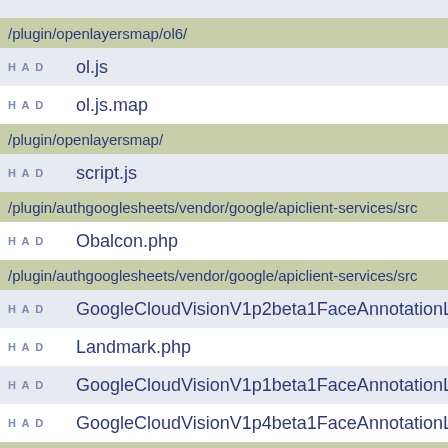/plugin/openlayersmap/ol6/
HAD   ol.js
HAD   ol.js.map
/plugin/openlayersmap/
HAD   script.js
/plugin/authgooglesheets/vendor/google/apiclient-services/src
HAD   Obalcon.php
/plugin/authgooglesheets/vendor/google/apiclient-services/src
HAD   GoogleCloudVisionV1p2beta1FaceAnnotationLandmar
HAD   Landmark.php
HAD   GoogleCloudVisionV1p1beta1FaceAnnotationLandmar
HAD   GoogleCloudVisionV1p4beta1FaceAnnotationLandmar
/plugin/authgooglesheets/vendor/google/apiclient-services/src
HAD   Books.php